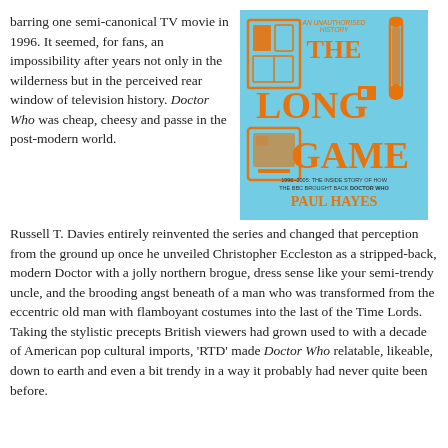barring one semi-canonical TV movie in 1996. It seemed, for fans, an impossibility after years not only in the wilderness but in the perceived rear window of television history. Doctor Who was cheap, cheesy and passe in the post-modern world.
[Figure (illustration): Book cover of 'The Long Game' by Paul Hayes — light blue background with orange geometric illustrations of TARDIS and Doctor Who elements. Subtitle: '1996–2005: The Inside Story of How the BBC Brought Back Doctor Who']
Russell T. Davies entirely reinvented the series and changed that perception from the ground up once he unveiled Christopher Eccleston as a stripped-back, modern Doctor with a jolly northern brogue, dress sense like your semi-trendy uncle, and the brooding angst beneath of a man who was transformed from the eccentric old man with flamboyant costumes into the last of the Time Lords. Taking the stylistic precepts British viewers had grown used to with a decade of American pop cultural imports, 'RTD' made Doctor Who relatable, likeable, down to earth and even a bit trendy in a way it probably had never quite been before.